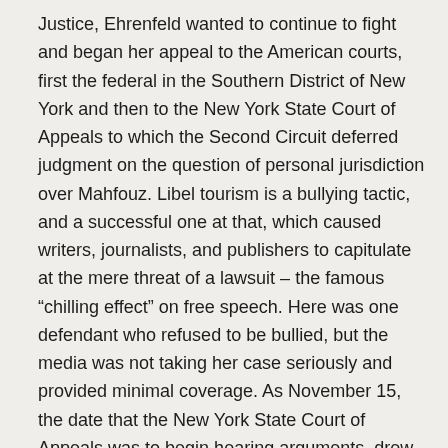Justice, Ehrenfeld wanted to continue to fight and began her appeal to the American courts, first the federal in the Southern District of New York and then to the New York State Court of Appeals to which the Second Circuit deferred judgment on the question of personal jurisdiction over Mahfouz. Libel tourism is a bullying tactic, and a successful one at that, which caused writers, journalists, and publishers to capitulate at the mere threat of a lawsuit – the famous “chilling effect” on free speech. Here was one defendant who refused to be bullied, but the media was not taking her case seriously and provided minimal coverage. As November 15, the date that the New York State Court of Appeals was to begin hearing arguments, drew near, I published a piece about Ehrenfeld’s case to draw attention to the importance of the issues. The next day I got a call from Assemblyman Rory Lancman who had read what I wrote and said that